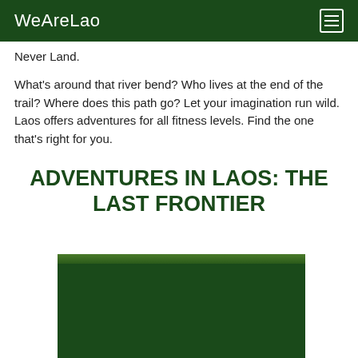WeAreLao
Never Land.
What's around that river bend? Who lives at the end of the trail? Where does this path go? Let your imagination run wild. Laos offers adventures for all fitness levels. Find the one that's right for you.
ADVENTURES IN LAOS: THE LAST FRONTIER
[Figure (photo): Partial photo showing dense green jungle/forest canopy at the top with a dark green background below]